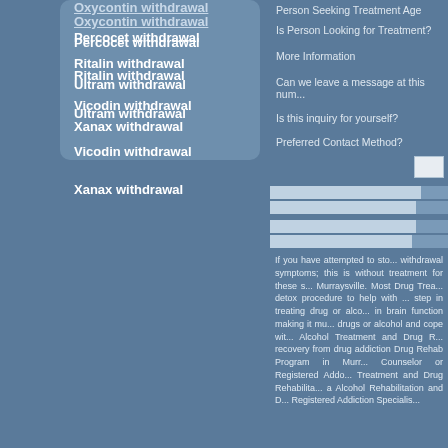Oxycontin withdrawal
Percocet withdrawal
Ritalin withdrawal
Ultram withdrawal
Vicodin withdrawal
Xanax withdrawal
Person Seeking Treatment Age
Is Person Looking for Treatment?
More Information
Can we leave a message at this num...
Is this inquiry for yourself?
Preferred Contact Method?
If you have attempted to stop withdrawal symptoms; this is without treatment for these s... Murraysville. Most Drug Trea... detox procedure to help with ... step in treating drug or alco... in brain function making it m... drugs or alcohol and cope wit... Alcohol Treatment and Drug R... recovery from drug addiction Drug Rehab Program in Murr... Counselor or Registered Add... Treatment and Drug Rehabilita... a Alcohol Rehabilitation and D... Registered Addiction Specialis...